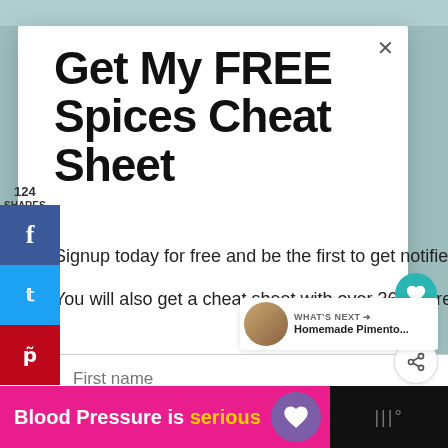Get My FREE Spices Cheat Sheet
Signup today for free and be the first to get notified when we post new recipes.
You will also get a cheat sheet with over 36 different homemade spice mixes.
124 SHARES
124
125
WHAT'S NEXT → Homemade Pimento...
First name
[Figure (infographic): Pink advertisement banner reading 'Blood Pressure is serious' with purple heart logo and dark right section with dots icon]